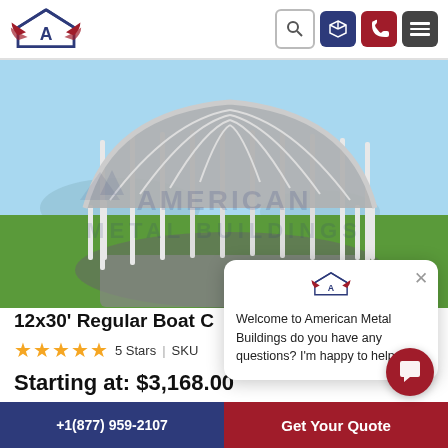American Metal Buildings - navigation header with logo, search, 3D viewer, phone, and menu icons
[Figure (photo): 3D rendering of a 12x30 regular boat cover carport structure with white metal frame and gray roof panels, shown on gravel pad with green grass and blue sky background. American Metal Buildings watermark visible.]
[Figure (screenshot): Chat popup overlay with American Metal Buildings logo and text: Welcome to American Metal Buildings do you have any questions? I'm happy to help.]
12x30' Regular Boat Cover
★★★★★ 5 Stars | SKU
Starting at: $3,168.00
+1(877) 959-2107  |  Get Your Quote